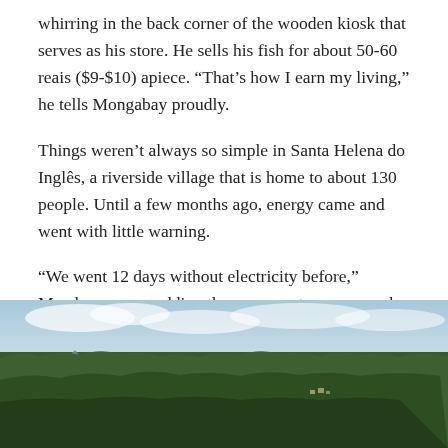whirring in the back corner of the wooden kiosk that serves as his store. He sells his fish for about 50-60 reais ($9-$10) apiece. “That’s how I earn my living,” he tells Mongabay proudly.
Things weren’t always so simple in Santa Helena do Inglês, a riverside village that is home to about 130 people. Until a few months ago, energy came and went with little warning.
“We went 12 days without electricity before,” Mendonça says, adding the power outage occurred after a felled tree knocked down a power line in the middle of the forest. He remembers praying for his stockpile of ice not to run out, so that he wouldn’t lose some 800 reais ($144) in merchandise.
[Figure (photo): Aerial photograph of a river winding through dense tropical forest with a small village visible in the distance under a partly cloudy sky.]